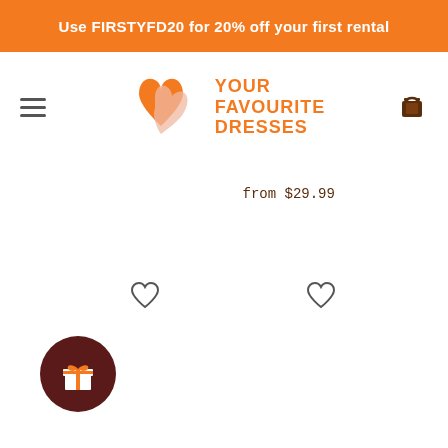Use FIRSTYFD20 for 20% off your first rental
[Figure (logo): Your Favourite Dresses logo with orange and pink heart icon and orange text]
from $29.99
[Figure (other): Heart/wishlist icon (left)]
[Figure (other): Heart/wishlist icon (right)]
[Figure (other): Dark red circular gift/reward button with gift box icon]